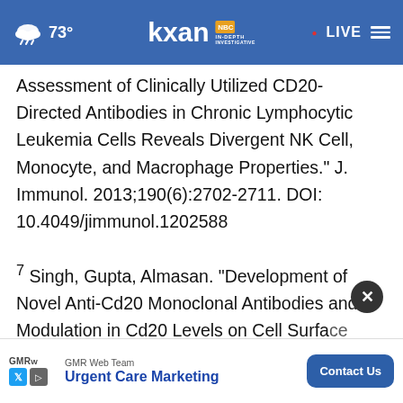73° KXAN IN-DEPTH INVESTIGATIVE • LIVE
Assessment of Clinically Utilized CD20-Directed Antibodies in Chronic Lymphocytic Leukemia Cells Reveals Divergent NK Cell, Monocyte, and Macrophage Properties." J. Immunol. 2013;190(6):2702-2711. DOI: 10.4049/jimmunol.1202588
7 Singh, Gupta, Almasan. "Development of Novel Anti-Cd20 Monoclonal Antibodies and Modulation in Cd20 Levels on Cell Surface... Looking ... onse." J Can...
[Figure (other): GMR Web Team advertisement banner with Contact Us button and close (x) button overlay]